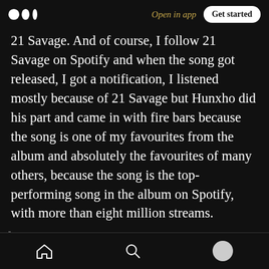Open in app | Get started
21 Savage. And of course, I follow 21 Savage on Spotify and when the song got released, I got a notification, I listened mostly because of 21 Savage but Hunxho did his part and came in with fire bars because the song is one of my favourites from the album and absolutely the favourites of many others, because the song is the top-performing song in the album on Spotify, with more than eight million streams.
Honestly, the album is a decent album and something you should definitely listen to and it's also something you would call a "Street Poetry" the album name really